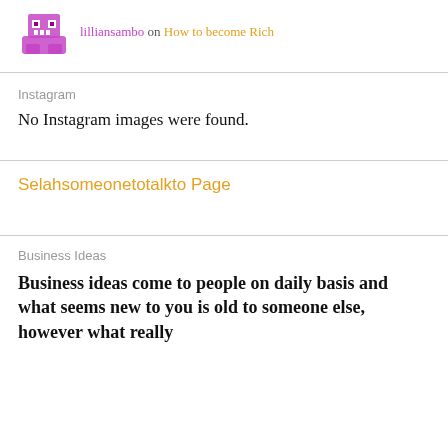lilliansambo on How to become Rich
Instagram
No Instagram images were found.
Selahsomeonetotalkto Page
Business Ideas
Business ideas come to people on daily basis and what seems new to you is old to someone else, however what really